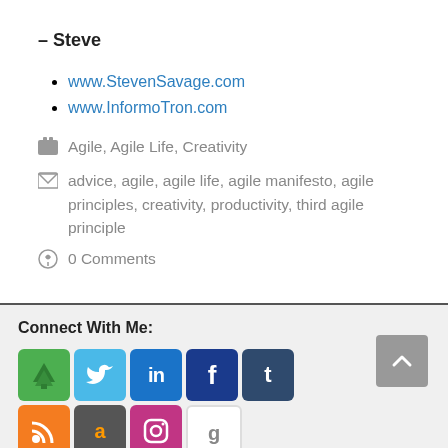– Steve
www.StevenSavage.com
www.InformoTron.com
Agile, Agile Life, Creativity
advice, agile, agile life, agile manifesto, agile principles, creativity, productivity, third agile principle
0 Comments
Connect With Me:
[Figure (infographic): Social media icon buttons: tree/network icon (green), Twitter (light blue), LinkedIn (blue), Facebook (dark blue), Tumblr (dark blue-gray), RSS (orange), Amazon (gray), Instagram (purple), Google (white)]